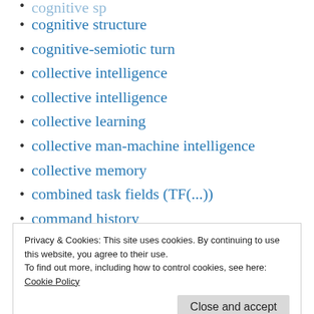cognitive structure
cognitive-semiotic turn
collective intelligence
collective intelligence
collective learning
collective man-machine intelligence
collective memory
combined task fields (TF(...))
command history
common knowledge
Privacy & Cookies: This site uses cookies. By continuing to use this website, you agree to their use.
To find out more, including how to control cookies, see here: Cookie Policy
completeness